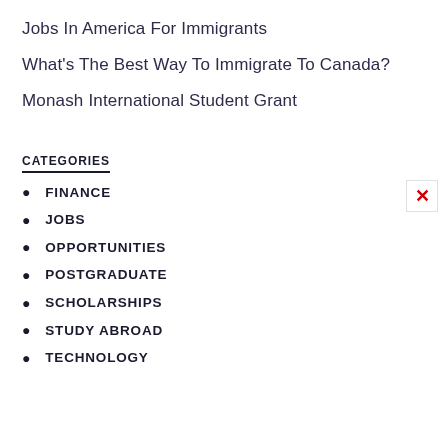Jobs In America For Immigrants
What's The Best Way To Immigrate To Canada?
Monash International Student Grant
CATEGORIES
FINANCE
JOBS
OPPORTUNITIES
POSTGRADUATE
SCHOLARSHIPS
STUDY ABROAD
TECHNOLOGY